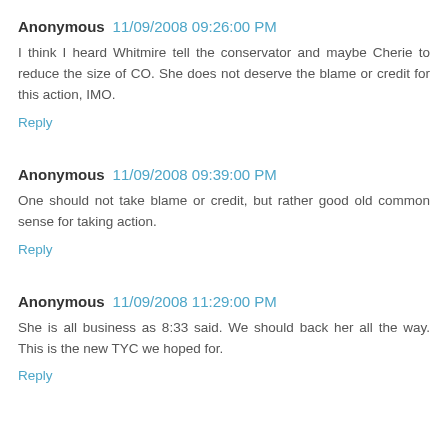Anonymous 11/09/2008 09:26:00 PM
I think I heard Whitmire tell the conservator and maybe Cherie to reduce the size of CO. She does not deserve the blame or credit for this action, IMO.
Reply
Anonymous 11/09/2008 09:39:00 PM
One should not take blame or credit, but rather good old common sense for taking action.
Reply
Anonymous 11/09/2008 11:29:00 PM
She is all business as 8:33 said. We should back her all the way. This is the new TYC we hoped for.
Reply